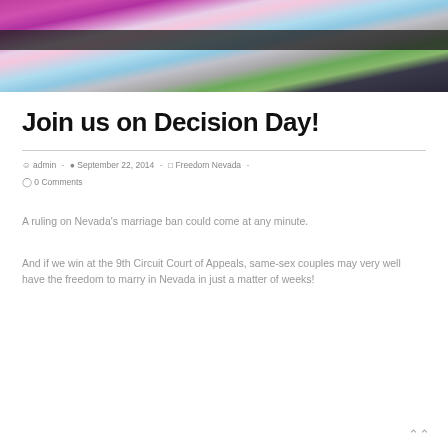[Figure (photo): Photo of people at a pride or celebration event, with colorful costumes including pink/magenta and a transgender pride flag pattern outfit, with a dark horizontal bar/barrier across the middle.]
Join us on Decision Day!
admin  -  September 22, 2014  -  Freedom Nevada  -  0 Comments
A ruling on Nevada's marriage ban could come at any minute.
And if we win at the 9th Circuit Court of Appeals, same-sex couples may very well have the freedom to marry in Nevada in just a matter of weeks!